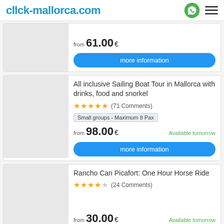click-mallorca.com
from 61.00 €
more information
All inclusive Sailing Boat Tour in Mallorca with drinks, food and snorkel
★★★★★ (71 Comments)
Small groups - Maximum 8 Pax
from 98.00 € Available tomorrow
more information
Rancho Can Picafort: One Hour Horse Ride
★★★★☆ (24 Comments)
from 30.00 € Available tomorrow